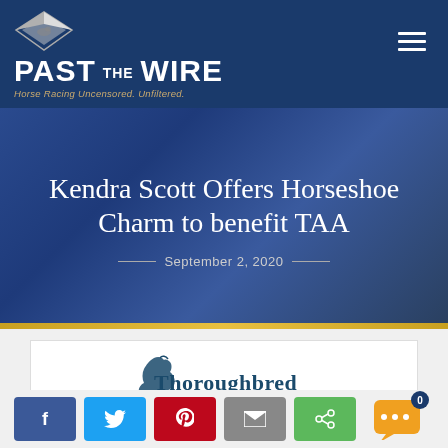PAST THE WIRE — Horse Racing Uncensored. Unfiltered.
Kendra Scott Offers Horseshoe Charm to benefit TAA
September 2, 2020
[Figure (logo): Thoroughbred Aftercare Alliance logo with horse silhouette]
[Figure (other): Social share buttons: Facebook, Twitter, Pinterest, Email, Share; and a chat widget showing 0 notifications]